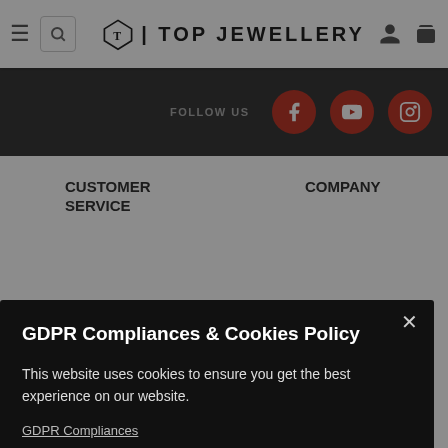TOP JEWELLERY
FOLLOW US
CUSTOMER SERVICE
COMPANY
GDPR Compliances & Cookies Policy
This website uses cookies to ensure you get the best experience on our website.
GDPR Compliances
Decline
Accept
Diamond School